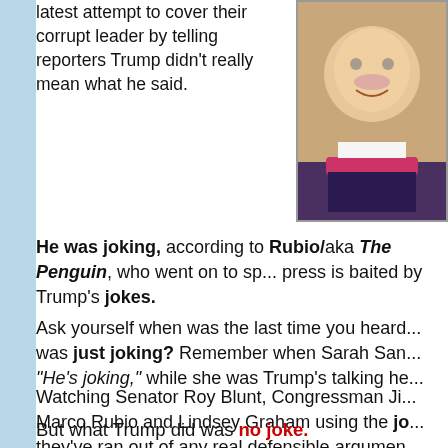latest attempt to cover their corrupt leader by telling reporters Trump didn't really mean what he said.
[Figure (photo): Man in tuxedo with bow tie and glasses, smiling, appears to be dressed in a costume or formal wear]
He was joking, according to Rubio/aka The Penguin, who went on to sp... press is baited by Trump's jokes.
Ask yourself when was the last time you heard... was just joking? Remember when Sarah San... "He's joking," while she was Trump's talking he...
Watching Senator Roy Blunt, Congressman Ji... Marco Rubio and Lindsey Graham using the jo... they've ran out of any real defensible argumen...
But what Trump did was no joke.